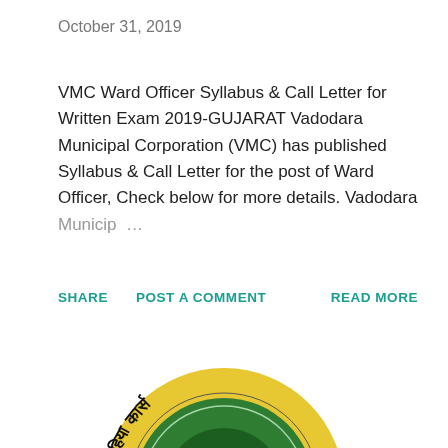October 31, 2019
VMC Ward Officer Syllabus & Call Letter for Written Exam 2019-GUJARAT Vadodara Municipal Corporation (VMC) has published Syllabus & Call Letter for the post of Ward Officer, Check below for more details. Vadodara Municip ...
SHARE   POST A COMMENT   READ MORE
[Figure (logo): Circular emblem/logo with yellow border and green center, featuring Hindi/Devanagari script text around the ring, partially visible at the bottom of the page.]